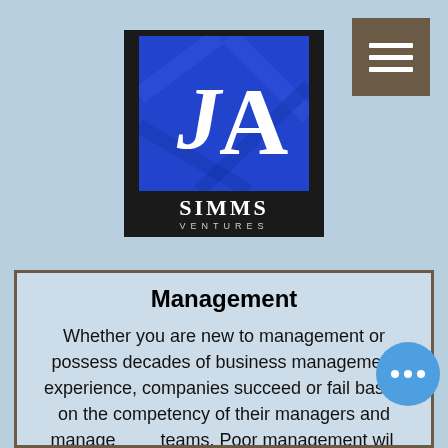[Figure (logo): JA Simms Ventures logo — blue square with stylized J and A letters in white/gold on black background, with SIMMS VENTURES text below]
Management
Whether you are new to management or possess decades of business management experience, companies succeed or fail based on the competency of their managers and management teams. Poor management will